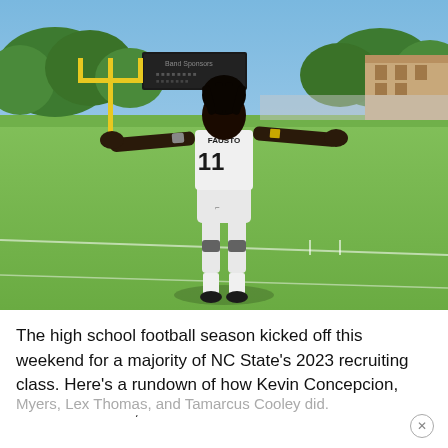[Figure (photo): A football player wearing white uniform with number 11, arms outstretched, standing on a green football field with a yellow goalpost visible in the background, trees and a scoreboard behind him, blue sky above.]
The high school football season kicked off this weekend for a majority of NC State's 2023 recruiting class. Here's a rundown of how Kevin Concepcion, Javonte Vereen, Zack
Myers, Lex Thomas, and Tamarcus Cooley did.